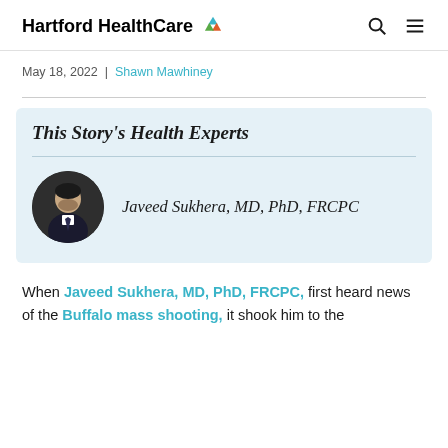Hartford HealthCare
May 18, 2022 | Shawn Mawhiney
This Story's Health Experts
Javeed Sukhera, MD, PhD, FRCPC
When Javeed Sukhera, MD, PhD, FRCPC, first heard news of the Buffalo mass shooting, it shook him to the